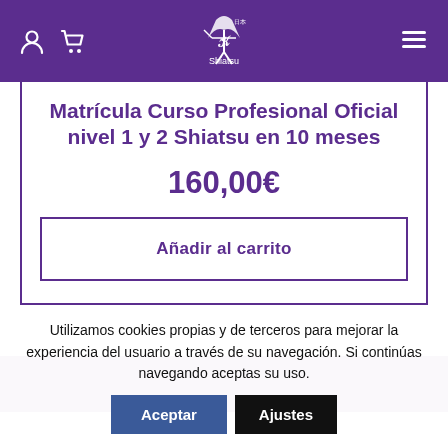Navigation header with user, cart, logo, and menu icons
Matrícula Curso Profesional Oficial nivel 1 y 2 Shiatsu en 10 meses
160,00€
Añadir al carrito
Utilizamos cookies propias y de terceros para mejorar la experiencia del usuario a través de su navegación. Si continúas navegando aceptas su uso.
Aceptar
Ajustes